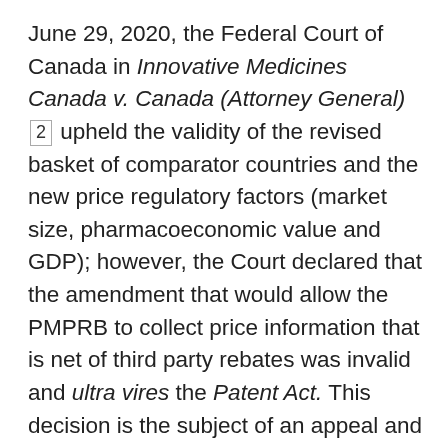June 29, 2020, the Federal Court of Canada in Innovative Medicines Canada v. Canada (Attorney General) [2] upheld the validity of the revised basket of comparator countries and the new price regulatory factors (market size, pharmacoeconomic value and GDP); however, the Court declared that the amendment that would allow the PMPRB to collect price information that is net of third party rebates was invalid and ultra vires the Patent Act. This decision is the subject of an appeal and cross-appeal currently before the Federal Court of Appeal.